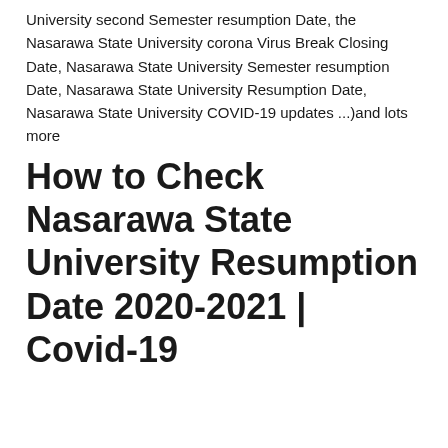University second Semester resumption Date, the Nasarawa State University corona Virus Break Closing Date, Nasarawa State University Semester resumption Date, Nasarawa State University Resumption Date,  Nasarawa State University COVID-19 updates ...)and lots more
How to Check Nasarawa State University Resumption Date 2020-2021 | Covid-19